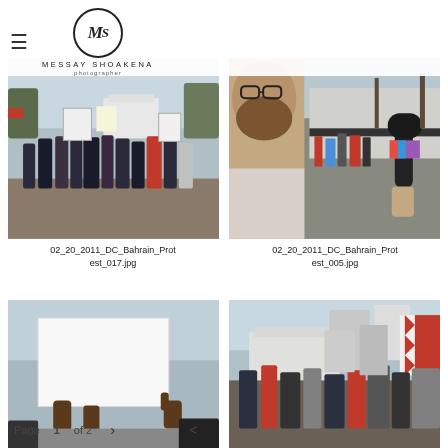Messay Shoakena photographer — navigation header with logo and hamburger menu
[Figure (photo): Protest scene in front of the White House, people holding signs, viewed from behind]
02_20_2011_DC_Bahrain_Protest_017.jpg
[Figure (photo): Close-up of a bearded man being interviewed with a microphone, protest crowd and White House in background]
02_20_2011_DC_Bahrain_Protest_005.jpg
[Figure (photo): Person holding a large blank white sign in front of the White House]
[Figure (photo): Group of protesters with flags and banners in front of the White House]
Page 1 of 2